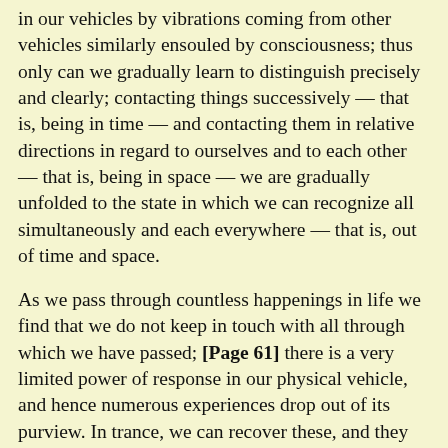in our vehicles by vibrations coming from other vehicles similarly ensouled by consciousness; thus only can we gradually learn to distinguish precisely and clearly; contacting things successively — that is, being in time — and contacting them in relative directions in regard to ourselves and to each other — that is, being in space — we are gradually unfolded to the state in which we can recognize all simultaneously and each everywhere — that is, out of time and space.
As we pass through countless happenings in life we find that we do not keep in touch with all through which we have passed; [Page 61] there is a very limited power of response in our physical vehicle, and hence numerous experiences drop out of its purview. In trance, we can recover these, and they are said to emerge from the sub-conscious. Truly they remain ever unchanging in the universal Consciousness, and as we pass by them we become aware of them, because the very limited light of our consciousness, shrouded in the physical vehicle, falls upon them, and they disappear as we pass on; but as the area covered by that same light shining through the astral vehicle is larger, they again appear when we are in trance — that is in the astral vehicle, free from the physical; they have not come and gone and come back again, but the light of our consciousness in the physical vehicle had passed on and so we saw them not